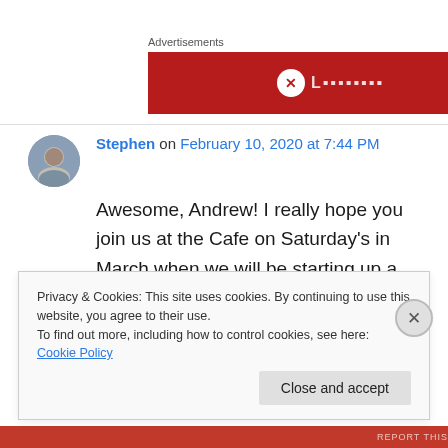Advertisements
[Figure (other): Red advertisement banner with white circular logo and text]
Stephen on February 10, 2020 at 7:44 PM
Awesome, Andrew! I really hope you join us at the Cafe on Saturday's in March when we will be starting up a new Prose Writing Workshop!
Privacy & Cookies: This site uses cookies. By continuing to use this website, you agree to their use.
To find out more, including how to control cookies, see here: Cookie Policy